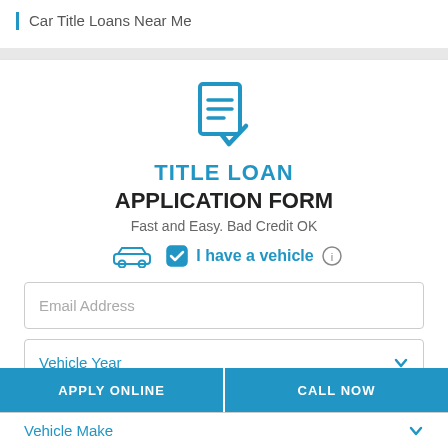Car Title Loans Near Me
TITLE LOAN APPLICATION FORM
Fast and Easy. Bad Credit OK
I have a vehicle
Email Address
Vehicle Year
APPLY ONLINE
CALL NOW
Vehicle Make